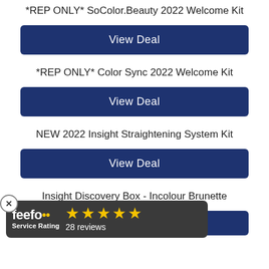*REP ONLY* SoColor.Beauty 2022 Welcome Kit
View Deal
*REP ONLY* Color Sync 2022 Welcome Kit
View Deal
NEW 2022 Insight Straightening System Kit
View Deal
Insight Discovery Box - Incolour Brunette
View Deal
[Figure (other): Feefo Service Rating widget showing 5 stars and 28 reviews]
Insight Discovery Box - Incolour Blonde